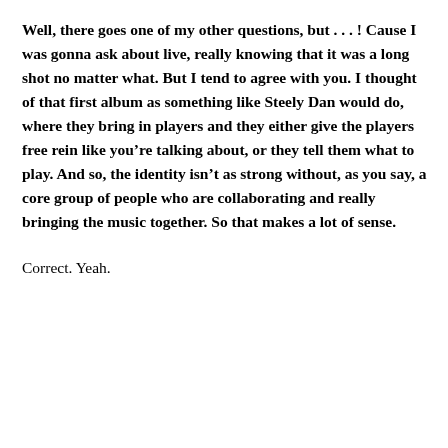Well, there goes one of my other questions, but . . . ! Cause I was gonna ask about live, really knowing that it was a long shot no matter what.  But I tend to agree with you.  I thought of that first album as something like Steely Dan would do, where they bring in players and they either give the players free rein like you're talking about, or they tell them what to play.  And so, the identity isn't as strong without, as you say, a core group of people who are collaborating and really bringing the music together.  So that makes a lot of sense.
Correct.  Yeah.